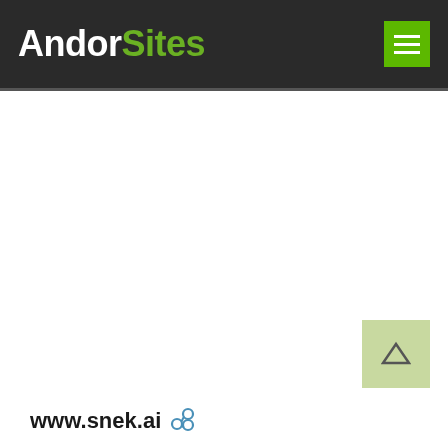AndorSites
[Figure (other): Scroll-to-top button with upward triangle arrow on light green background]
www.snek.ai